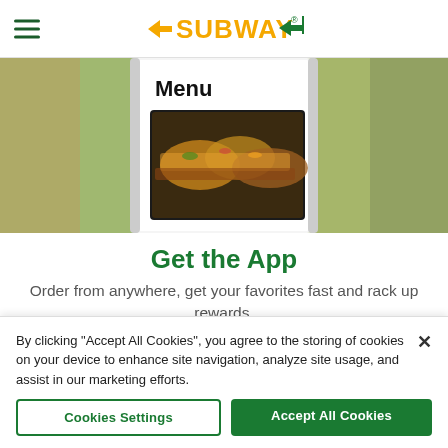SUBWAY (logo with hamburger menu icon)
[Figure (screenshot): Subway app screen showing sandwich menu with food photography - multiple sub sandwiches displayed on black background, with 'Menu' label visible]
Get the App
Order from anywhere, get your favorites fast and rack up rewards.
[Figure (other): App store download buttons: 'Download on the App Store' (Apple) and 'GET IT ON Google Play']
By clicking "Accept All Cookies", you agree to the storing of cookies on your device to enhance site navigation, analyze site usage, and assist in our marketing efforts.
Cookies Settings
Accept All Cookies